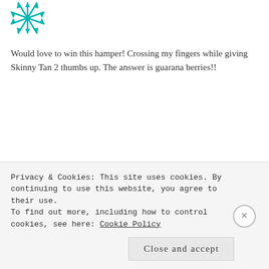[Figure (logo): Snowflake/geometric avatar icon in teal/cyan color, top left]
Would love to win this hamper! Crossing my fingers while giving Skinny Tan 2 thumbs up. The answer is guarana berries!!
REPLY
[Figure (logo): Teal geometric diamond/square avatar icon for user Nikki]
NIKKI
September 13, 2016 at 11:00 am
Privacy & Cookies: This site uses cookies. By continuing to use this website, you agree to their use.
To find out more, including how to control cookies, see here: Cookie Policy
Close and accept